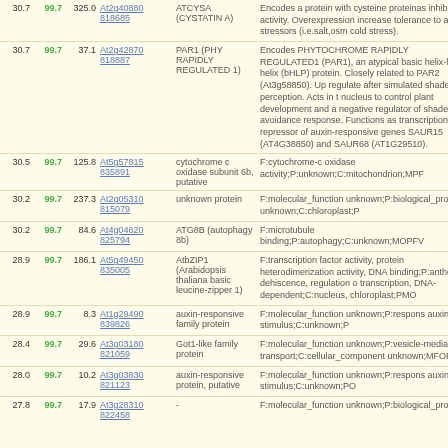| Score1 | Score2 | Score3 | Links | Gene | Description |
| --- | --- | --- | --- | --- | --- |
| 30.7 | 99.7 | 325.0 | At2g40880 818685 | ATCYSA (CYSTATIN A) | Encodes a protein with cysteine proteinase inhibitor activity. Overexpression increases tolerance to abiotic stressors (i.e.salt,osm cold stress). |
| 30.7 | 99.7 | 37.1 | At2g42870 818887 | PAR1 (PHY RAPIDLY REGULATED 1) | Encodes PHYTOCHROME RAPIDLY REGULATED1 (PAR1), an atypical basic helix-loop-helix (bHLP) protein. Closely related to PAR2 (At3g58850). Up regulated after simulated shade perception. Acts in the nucleus to control plant development and a negative regulator of shade avoidance response. Functions as transcriptional repressor of auxin-responsive genes SAUR15 (AT4G38850) and SAUR68 (AT1G29510). |
| 30.5 | 99.7 | 125.8 | At5g57815 835891 | cytochrome c oxidase subunit 6b, putative | F:cytochrome-c oxidase activity;P:unknown;C:mitochondrion;MPF |
| 30.2 | 99.7 | 237.3 | At2g05310 815079 | unknown protein | F:molecular_function unknown;P:biological_process unknown;C:chloroplast;P |
| 30.2 | 99.7 | 84.6 | At4g04620 825794 | ATG8B (autophagy 8b) | F:microtubule binding;P:autophagy;C:unknown;MOPFV |
| 28.9 | 99.7 | 186.1 | At5g49450 835005 | AtbZIP1 (Arabidopsis thaliana basic leucine-zipper 1) | F:transcription factor activity, protein heterodimerization activity, DNA binding;P:anther dehiscence, regulation of transcription, DNA-dependent;C:nucleus, chloroplast;PMO |
| 28.9 | 99.7 | 8.3 | At1g29490 839826 | auxin-responsive family protein | F:molecular_function unknown;P:response to auxin stimulus;C:unknown;P |
| 28.4 | 99.7 | 29.6 | At3g03180 821059 | Got1-like family protein | F:molecular_function unknown;P:vesicle-mediated transport;C:cellular_component unknown;MFOP |
| 28.0 | 99.7 | 10.2 | At3g03830 821123 | auxin-responsive protein, putative | F:molecular_function unknown;P:response to auxin stimulus;C:unknown;PO |
| 27.8 | 99.7 | 17.9 | At3g28310 822458 | - | F:molecular_function unknown;P:biological_process |